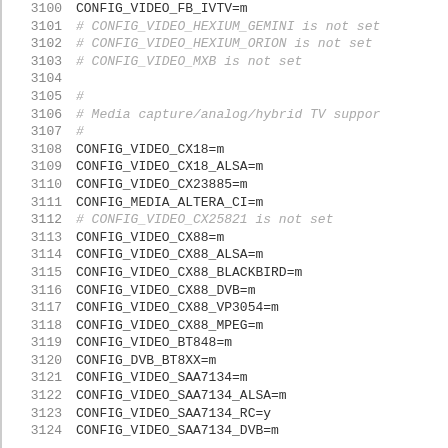3100 CONFIG_VIDEO_FB_IVTV=m
3101 # CONFIG_VIDEO_HEXIUM_GEMINI is not set
3102 # CONFIG_VIDEO_HEXIUM_ORION is not set
3103 # CONFIG_VIDEO_MXB is not set
3104
3105 #
3106 # Media capture/analog/hybrid TV support
3107 #
3108 CONFIG_VIDEO_CX18=m
3109 CONFIG_VIDEO_CX18_ALSA=m
3110 CONFIG_VIDEO_CX23885=m
3111 CONFIG_MEDIA_ALTERA_CI=m
3112 # CONFIG_VIDEO_CX25821 is not set
3113 CONFIG_VIDEO_CX88=m
3114 CONFIG_VIDEO_CX88_ALSA=m
3115 CONFIG_VIDEO_CX88_BLACKBIRD=m
3116 CONFIG_VIDEO_CX88_DVB=m
3117 CONFIG_VIDEO_CX88_VP3054=m
3118 CONFIG_VIDEO_CX88_MPEG=m
3119 CONFIG_VIDEO_BT848=m
3120 CONFIG_DVB_BT8XX=m
3121 CONFIG_VIDEO_SAA7134=m
3122 CONFIG_VIDEO_SAA7134_ALSA=m
3123 CONFIG_VIDEO_SAA7134_RC=y
3124 CONFIG_VIDEO_SAA7134_DVB=m